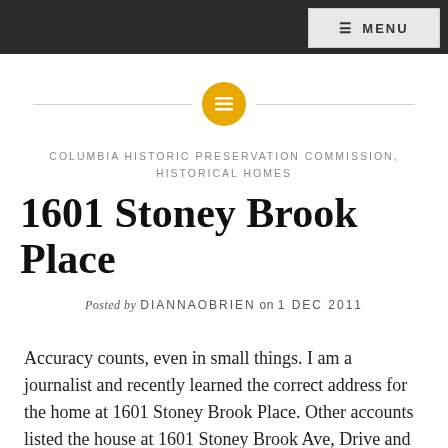≡ MENU
[Figure (illustration): Horizontal divider line with a yellow/gold circular icon containing lines (menu/list symbol) in the center]
COLUMBIA HISTORIC PRESERVATION COMMISSION, HISTORICAL HOMES
1601 Stoney Brook Place
Posted by DIANNAOBRIEN on 1 DEC 2011
Accuracy counts, even in small things. I am a journalist and recently learned the correct address for the home at 1601 Stoney Brook Place. Other accounts listed the house at 1601 Stoney Brook Ave, Drive and other